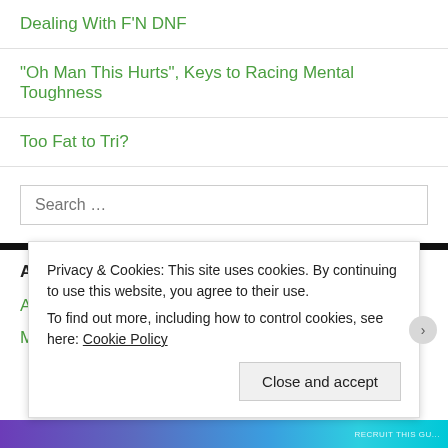Dealing With F'N DNF
"Oh Man This Hurts", Keys to Racing Mental Toughness
Too Fat to Tri?
Search ...
ARCHIVES
April 2016
Privacy & Cookies: This site uses cookies. By continuing to use this website, you agree to their use.
To find out more, including how to control cookies, see here: Cookie Policy
Close and accept